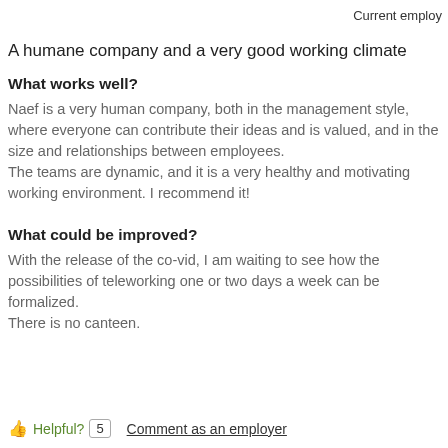Current employ
A humane company and a very good working climate
What works well?
Naef is a very human company, both in the management style, where everyone can contribute their ideas and is valued, and in the size and relationships between employees.
The teams are dynamic, and it is a very healthy and motivating working environment. I recommend it!
What could be improved?
With the release of the co-vid, I am waiting to see how the possibilities of teleworking one or two days a week can be formalized.
There is no canteen.
Helpful? 5   Comment as an employer